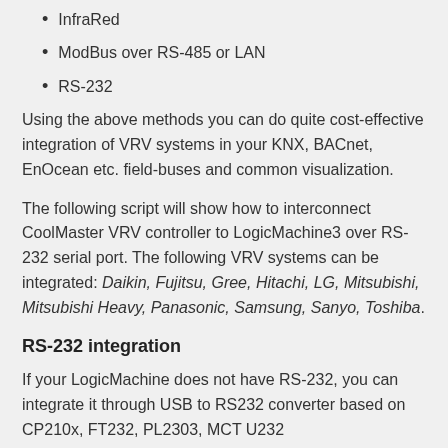InfraRed
ModBus over RS-485 or LAN
RS-232
Using the above methods you can do quite cost-effective integration of VRV systems in your KNX, BACnet, EnOcean etc. field-buses and common visualization.
The following script will show how to interconnect CoolMaster VRV controller to LogicMachine3 over RS-232 serial port. The following VRV systems can be integrated: Daikin, Fujitsu, Gree, Hitachi, LG, Mitsubishi, Mitsubishi Heavy, Panasonic, Samsung, Sanyo, Toshiba.
RS-232 integration
If your LogicMachine does not have RS-232, you can integrate it through USB to RS232 converter based on CP210x, FT232, PL2303, MCT U232